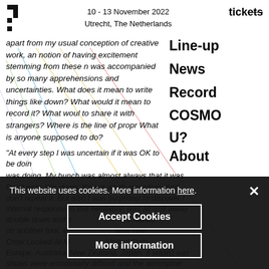10 - 13 November 2022
Utrecht, The Netherlands
apart from my usual conception of creative work, an notion of having excitement stemming from these n was accompanied by so many apprehensions and uncertainties. What does it mean to write things like down? What would it mean to record it? What woul to share it with strangers? Where is the line of propr What is anyone supposed to do?
Line-up
News
Record
COSMO
"At every step I was uncertain if it was OK to be doin was doing. My hunch was almost always that it was. Don't write this down. It's not worth recording. And don't repeat it. But also I was surprised to discover t internal response to this hesitation was almost alway double down and p more naked on another tour, e after rele Crow Looked At M United State Europe, Australia, New Zealand, Japan. It wasn't eas shows were emotionally difficult and the atmospher
U?
About
This website uses cookies. More information here.
Accept Cookies
More information